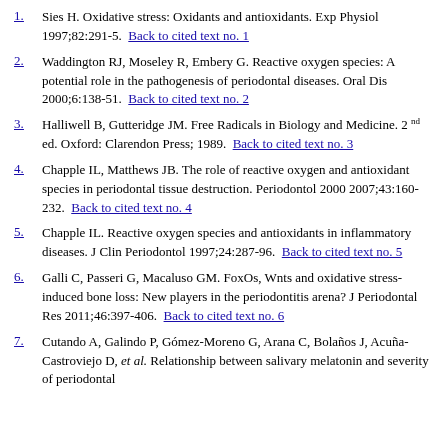1. Sies H. Oxidative stress: Oxidants and antioxidants. Exp Physiol 1997;82:291-5. Back to cited text no. 1
2. Waddington RJ, Moseley R, Embery G. Reactive oxygen species: A potential role in the pathogenesis of periodontal diseases. Oral Dis 2000;6:138-51. Back to cited text no. 2
3. Halliwell B, Gutteridge JM. Free Radicals in Biology and Medicine. 2nd ed. Oxford: Clarendon Press; 1989. Back to cited text no. 3
4. Chapple IL, Matthews JB. The role of reactive oxygen and antioxidant species in periodontal tissue destruction. Periodontol 2000 2007;43:160-232. Back to cited text no. 4
5. Chapple IL. Reactive oxygen species and antioxidants in inflammatory diseases. J Clin Periodontol 1997;24:287-96. Back to cited text no. 5
6. Galli C, Passeri G, Macaluso GM. FoxOs, Wnts and oxidative stress-induced bone loss: New players in the periodontitis arena? J Periodontal Res 2011;46:397-406. Back to cited text no. 6
7. Cutando A, Galindo P, Gómez-Moreno G, Arana C, Bolaños J, Acuña-Castroviejo D, et al. Relationship between salivary melatonin and severity of periodontal